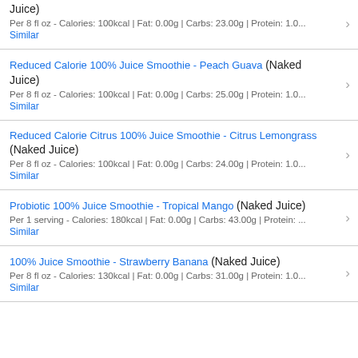Juice) (Naked Juice) Per 8 fl oz - Calories: 100kcal | Fat: 0.00g | Carbs: 23.00g | Protein: 1.0... Similar
Reduced Calorie 100% Juice Smoothie - Peach Guava (Naked Juice) Per 8 fl oz - Calories: 100kcal | Fat: 0.00g | Carbs: 25.00g | Protein: 1.0... Similar
Reduced Calorie Citrus 100% Juice Smoothie - Citrus Lemongrass (Naked Juice) Per 8 fl oz - Calories: 100kcal | Fat: 0.00g | Carbs: 24.00g | Protein: 1.0... Similar
Probiotic 100% Juice Smoothie - Tropical Mango (Naked Juice) Per 1 serving - Calories: 180kcal | Fat: 0.00g | Carbs: 43.00g | Protein: ... Similar
100% Juice Smoothie - Strawberry Banana (Naked Juice) Per 8 fl oz - Calories: 130kcal | Fat: 0.00g | Carbs: 31.00g | Protein: 1.0... Similar